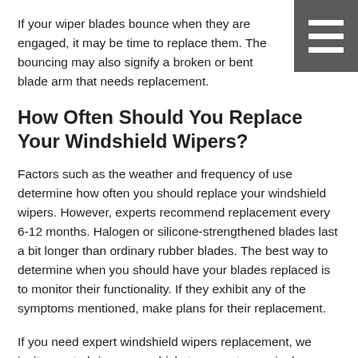If your wiper blades bounce when they are engaged, it may be time to replace them. The bouncing may also signify a broken or bent blade arm that needs replacement.
How Often Should You Replace Your Windshield Wipers?
Factors such as the weather and frequency of use determine how often you should replace your windshield wipers. However, experts recommend replacement every 6-12 months. Halogen or silicone-strengthened blades last a bit longer than ordinary rubber blades. The best way to determine when you should have your blades replaced is to monitor their functionality. If they exhibit any of the symptoms mentioned, make plans for their replacement.
If you need expert windshield wipers replacement, we invite you to bring your vehicle to our auto repair shop today.